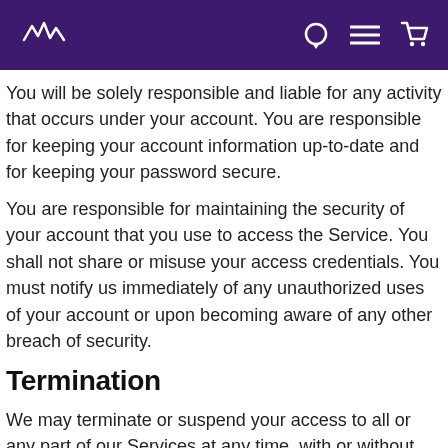You will be solely responsible and liable for any activity that occurs under your account. You are responsible for keeping your account information up-to-date and for keeping your password secure.
You are responsible for maintaining the security of your account that you use to access the Service. You shall not share or misuse your access credentials. You must notify us immediately of any unauthorized uses of your account or upon becoming aware of any other breach of security.
Termination
We may terminate or suspend your access to all or any part of our Services at any time, with or without cause, with or without notice, effective immediately.